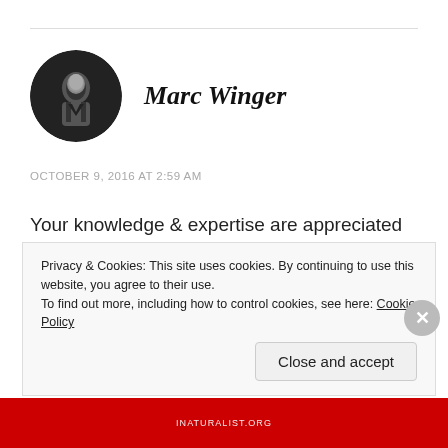[Figure (photo): Circular avatar photo of Marc Winger — black and white photo of a person in formal attire]
Marc Winger
OCTOBER 9, 2016 AT 2:59 AM
Your knowledge & expertise are appreciated in this matter. I'd been told what these insects were upon arriving in West Texas, but didn't know too much more than that about the hapless things as they zinged into the lights I leave on at night outside the house. At which
Privacy & Cookies: This site uses cookies. By continuing to use this website, you agree to their use.
To find out more, including how to control cookies, see here: Cookie Policy
Close and accept